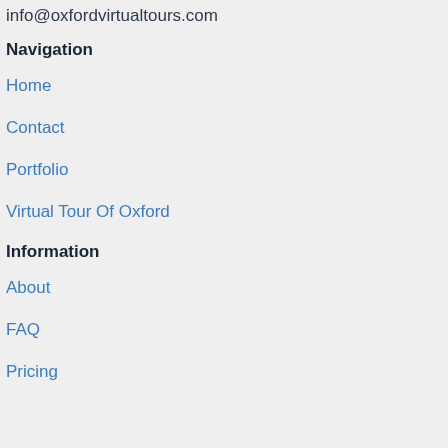info@oxfordvirtualtours.com
Navigation
Home
Contact
Portfolio
Virtual Tour Of Oxford
Information
About
FAQ
Pricing